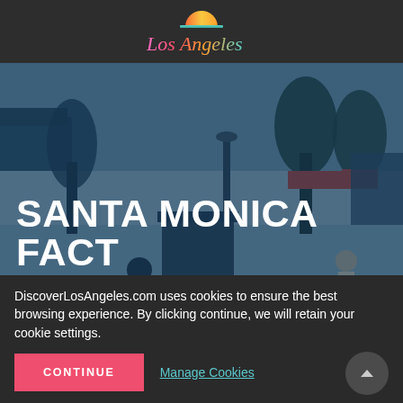Los Angeles (logo)
[Figure (photo): Street scene photo of Santa Monica with people walking on a pedestrian promenade lined with trees and shops, tinted with a blue overlay. White bold text reads 'SANTA MONICA FACT SHEET' overlaid on the image.]
SANTA MONICA FACT SHEET
DiscoverLosAngeles.com uses cookies to ensure the best browsing experience. By clicking continue, we will retain your cookie settings.
CONTINUE
Manage Cookies